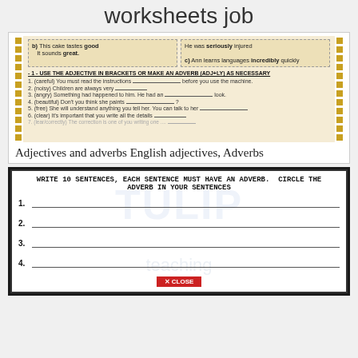worksheets job
[Figure (screenshot): Worksheet snippet showing adjectives/adverbs exercise with golden film-strip border and dotted cells containing example sentences and a numbered fill-in-the-blank exercise]
Adjectives and adverbs English adjectives, Adverbs
[Figure (screenshot): Worksheet with instruction: WRITE 10 SENTENCES, EACH SENTENCE MUST HAVE AN ADVERB. CIRCLE THE ADVERB IN YOUR SENTENCES, with numbered blank lines 1-4 visible and a TULIP watermark, plus an X CLOSE button at the bottom]